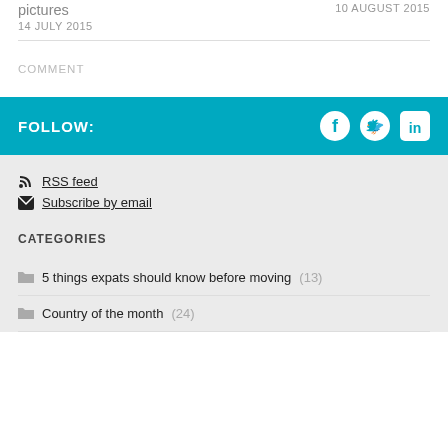pictures
10 AUGUST 2015
14 JULY 2015
COMMENT
FOLLOW:
RSS feed
Subscribe by email
CATEGORIES
5 things expats should know before moving (13)
Country of the month (24)